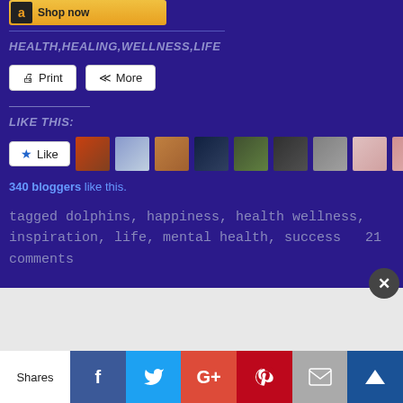[Figure (screenshot): Amazon 'Shop now' banner ad with Amazon logo]
HEALTH,HEALING,WELLNESS,LIFE
Print  More
LIKE THIS:
[Figure (screenshot): Like button with star icon and 10 avatar thumbnails of bloggers]
340 bloggers like this.
tagged dolphins, happiness, health wellness, inspiration, life, mental health, success  21 comments
Advertisements
[Figure (screenshot): DuckDuckGo advertisement: Search, browse, and email with more privacy. Shows phone with DuckDuckGo logo.]
Shares
[Figure (infographic): Social sharing bar with Facebook, Twitter, Google+, Pinterest, Email, and crown icon buttons]